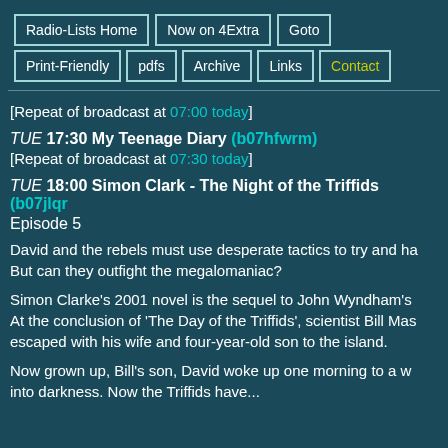Radio-Lists Home | Now on 4Extra | Goto | Print-Friendly | pdfs | Archive | Links | Contact
[Repeat of broadcast at 07:00 today]
TUE 17:30 My Teenage Diary (b07hfwrm)
[Repeat of broadcast at 07:30 today]
TUE 18:00 Simon Clark - The Night of the Triffids (b07jlqr)
Episode 5
David and the rebels must use desperate tactics to try and ha... But can they outfight the megalomaniac?
Simon Clarke's 2001 novel is the sequel to John Wyndham's... At the conclusion of 'The Day of the Triffids', scientist Bill Mas... escaped with his wife and four-year-old son to the island.
Now grown up, Bill's son, David woke up one morning to a wo... into darkness. Now the Triffids have...